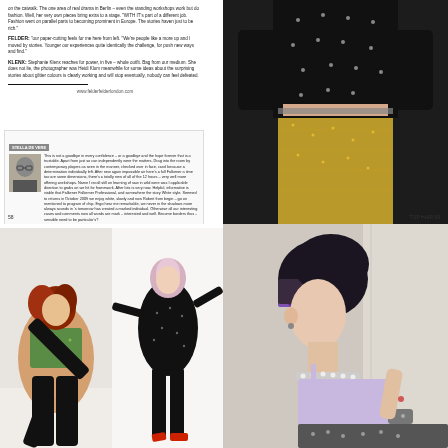Text column with fashion article body copy, FELDER FELDER section, KLENX section and website URL www.felderfelderlondon.com
Interview section with portrait photo of a man with glasses and body text about fashion topics
[Figure (photo): Fashion photo of model wearing black studded crop top and gold metallic midi skirt, upper body cropped]
[Figure (photo): Fashion photo of model with red hair in green sparkly top lying on floor, wearing black pants]
[Figure (photo): Fashion photo of model in black sparkly outfit posing against white wall with red heels]
[Figure (photo): Fashion portrait of model with short dark undercut hair wearing lavender slip top and metallic skirt, profile view]
58    TOP HAIR 59